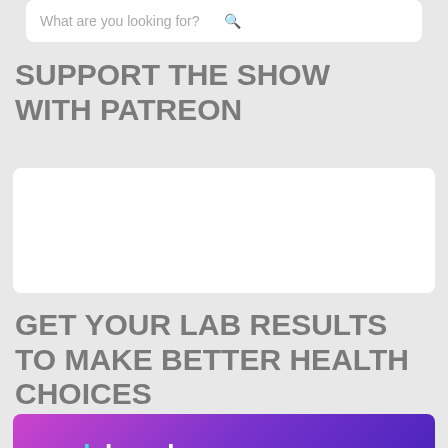[Figure (screenshot): Search box with placeholder text 'What are you looking for?' and a search icon on the right]
SUPPORT THE SHOW WITH PATREON
[Figure (other): White empty box (Patreon embed placeholder)]
GET YOUR LAB RESULTS TO MAKE BETTER HEALTH CHOICES
[Figure (other): yourlabwork.com banner with purple/magenta gradient background and white bold text]